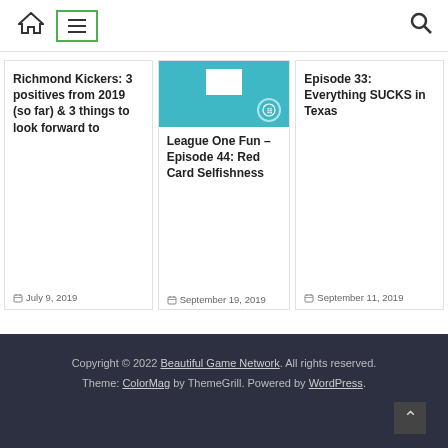Navigation bar with home icon, hamburger menu, and search icon
Richmond Kickers: 3 positives from 2019 (so far) & 3 things to look forward to
July 9, 2019
[Figure (photo): Teal/cyan background card image with white rectangle placeholder and circular badge]
League One Fun – Episode 44: Red Card Selfishness
September 19, 2019
Episode 33: Everything SUCKS in Texas
September 11, 2019
Copyright © 2022 Beautiful Game Network. All rights reserved. Theme: ColorMag by ThemeGrill. Powered by WordPress.